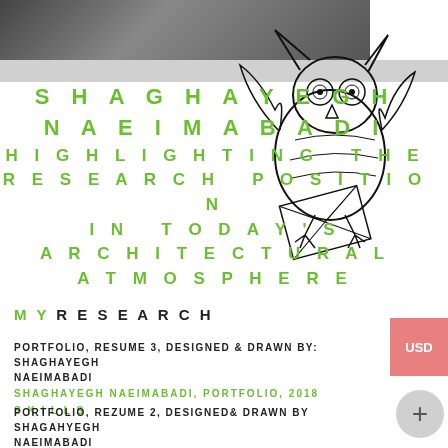[Figure (photo): Partial photo of a person in a dark background, cropped at top]
[Figure (illustration): Hand-drawn owl illustration with envelope/letter, black ink sketch]
SHAGHAYEGH NAEIMABADI HIGHLIGHTING THE RESEARCH POSITION IN TODAY'S ARCHITECTURAL ATMOSPHERE
MY RESEARCH
PORTFOLIO, RESUME 3, DESIGNED & DRAWN BY: SHAGHAYEGH NAEIMABADI
SHAGHAYEGH NAEIMABADI, PORTFOLIO, 2018
SKILLS
PORTFOLIO, REZUME 2, DESIGNED& DRAWN BY SHAGAHYEGH NAEIMABADI
SHAGHAYEGH NAEIMABADI, PORTFOLIO, 2018
CONFERENCES & CONGRESSES